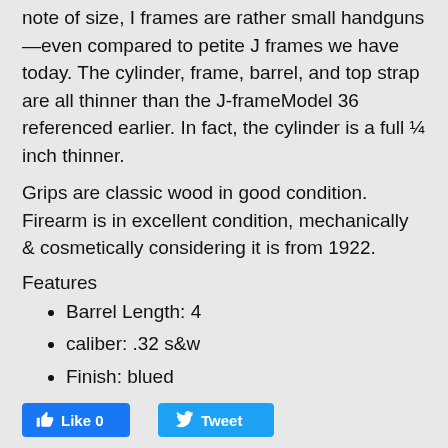note of size, I frames are rather small handguns—even compared to petite J frames we have today. The cylinder, frame, barrel, and top strap are all thinner than the J-frameModel 36 referenced earlier. In fact, the cylinder is a full ¼ inch thinner.
Grips are classic wood in good condition. Firearm is in excellent condition, mechanically & cosmetically considering it is from 1922.
Features
Barrel Length: 4
caliber: .32 s&w
Finish: blued